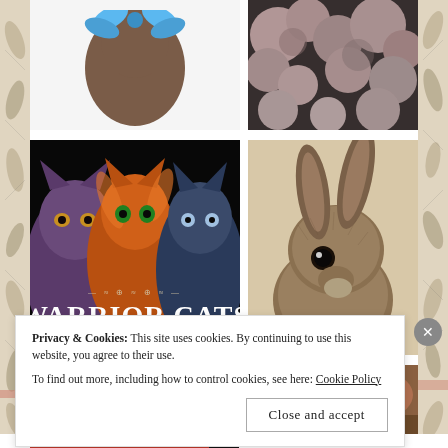[Figure (illustration): Illustrated graphic of a brown silhouette head/torso with blue floral decoration on white background]
[Figure (photo): Close-up photo of pink/white flowers with dark background, black and white toned]
[Figure (photo): Warrior Cats book cover showing three cats and the text WARRIOR CATS on black background]
[Figure (photo): Close-up photo of a brown fluffy rabbit looking at camera]
[Figure (photo): Partial photo of an animal with brown/reddish coloring on wooden surface]
Privacy & Cookies: This site uses cookies. By continuing to use this website, you agree to their use.
To find out more, including how to control cookies, see here: Cookie Policy
Close and accept